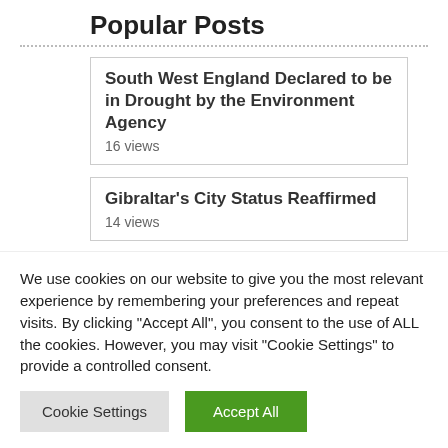Popular Posts
South West England Declared to be in Drought by the Environment Agency
16 views
Gibraltar's City Status Reaffirmed
14 views
Consultation for Extending NHS Pension Scheme for Returning Retired Staff
We use cookies on our website to give you the most relevant experience by remembering your preferences and repeat visits. By clicking "Accept All", you consent to the use of ALL the cookies. However, you may visit "Cookie Settings" to provide a controlled consent.